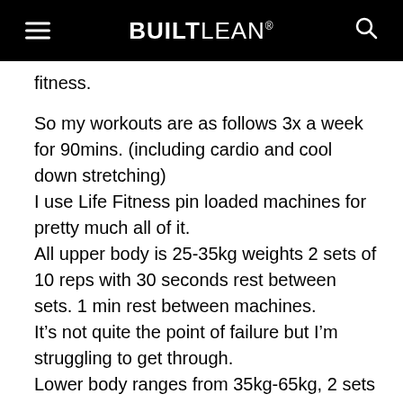BUILTLEAN®
fitness.
So my workouts are as follows 3x a week for 90mins. (including cardio and cool down stretching)
I use Life Fitness pin loaded machines for pretty much all of it.
All upper body is 25-35kg weights 2 sets of 10 reps with 30 seconds rest between sets. 1 min rest between machines.
It's not quite the point of failure but I'm struggling to get through.
Lower body ranges from 35kg-65kg, 2 sets of 12 reps. Again 30sec rest